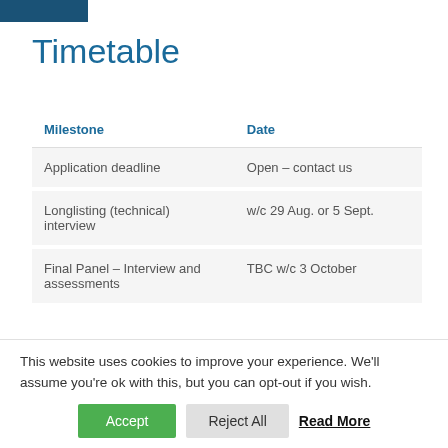[Figure (other): Blue rectangular logo/banner bar at top left]
Timetable
| Milestone | Date |
| --- | --- |
| Application deadline | Open – contact us |
| Longlisting (technical) interview | w/c 29 Aug. or 5 Sept. |
| Final Panel – Interview and assessments | TBC w/c 3 October |
Please note that the timetable may change. Any
This website uses cookies to improve your experience. We'll assume you're ok with this, but you can opt-out if you wish.